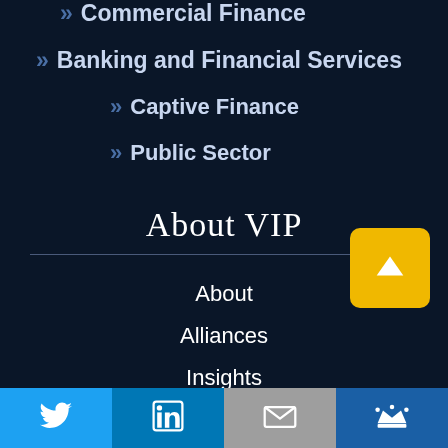» Commercial Finance
» Banking and Financial Services
» Captive Finance
» Public Sector
About VIP
About
Alliances
Insights
Resources
Careers
Contact Us